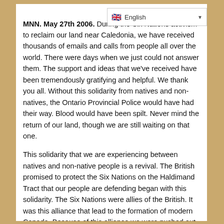MNN. May 27th 2006. During the Six Nations activism to reclaim our land near Caledonia, we have received thousands of emails and calls from people all over the world. There were days when we just could not answer them. The support and ideas that we've received have been tremendously gratifying and helpful. We thank you all. Without this solidarity from natives and non-natives, the Ontario Provincial Police would have had their way. Blood would have been spilt. Never mind the return of our land, though we are still waiting on that one.
This solidarity that we are experiencing between natives and non-native people is a revival. The British promised to protect the Six Nations on the Haldimand Tract that our people are defending began with this solidarity. The Six Nations were allies of the British. It was this alliance that lead to the formation of modern Canada. Because of this alliance we were pushed out of the Mohawk Valley in what is now New York State where our people had lived since the beginning of time. The Mohawks